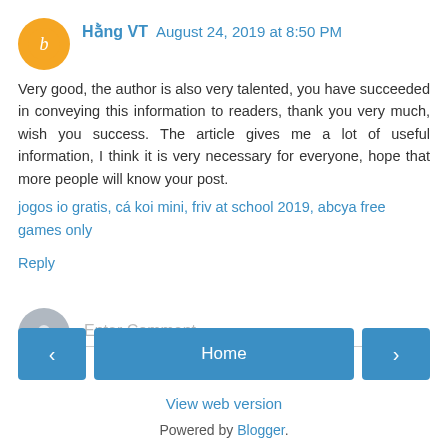Hằng VT  August 24, 2019 at 8:50 PM
Very good, the author is also very talented, you have succeeded in conveying this information to readers, thank you very much, wish you success. The article gives me a lot of useful information, I think it is very necessary for everyone, hope that more people will know your post. jogos io gratis, cá koi mini, friv at school 2019, abcya free games only
Reply
Enter Comment
Home
View web version
Powered by Blogger.